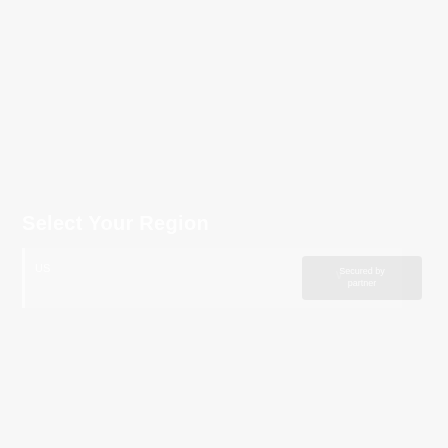Select Your Region
[Figure (screenshot): A form UI element with a region/country selector dropdown input with a chevron icon and a logo/badge to the right side, rendered in low contrast white-on-light-gray.]